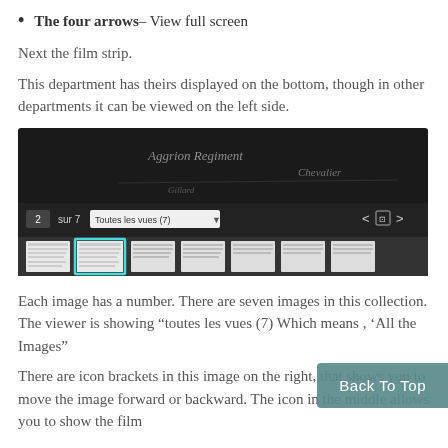The four arrows– View full screen
Next the film strip.
This department has theirs displayed on the bottom, though in other departments it can be viewed on the left side.
[Figure (screenshot): Screenshot of a document viewer showing a filmstrip navigation at the bottom. Displays '2 sur 7' with a dropdown 'Toutes les vues (7)' and arrow navigation icons. Seven thumbnail images are shown in the filmstrip, with the second highlighted in cyan/blue.]
Each image has a number. There are seven images in this collection. The viewer is showing “toutes les vues (7) Which means , ‘All the Images”
There are icon brackets in this image on the right, that shows you to move the image forward or backward. The icon in the middle allows you to show the film